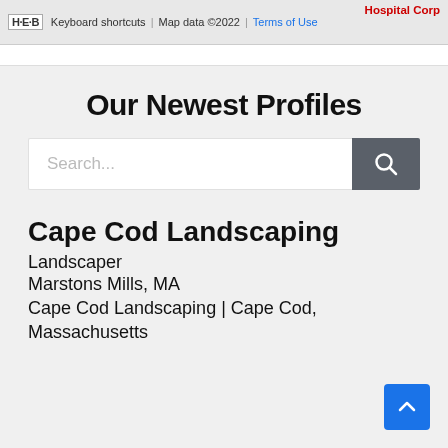[Figure (screenshot): Partial Google Maps strip with H-E-B icon, Keyboard shortcuts, Map data ©2022, Terms of Use, and Hospital Corp label in red]
Our Newest Profiles
[Figure (screenshot): Search bar with placeholder text 'Search...' and a dark gray search button with magnifying glass icon]
Cape Cod Landscaping
Landscaper
Marstons Mills, MA
Cape Cod Landscaping | Cape Cod, Massachusetts